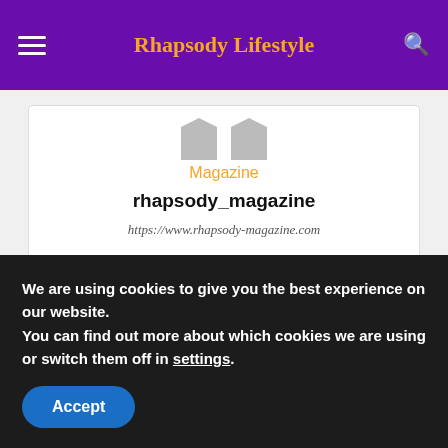Rhapsody Lifestyle
[Figure (illustration): Profile card with two avatar placeholders, category label 'Magazine', username 'rhapsody_magazine', URL 'https://www.rhapsody-magazine.com', and LinkedIn icon]
RELATED ARTICLES   MORE FROM AUTHOR
We are using cookies to give you the best experience on our website.
You can find out more about which cookies we are using or switch them off in settings.
Accept